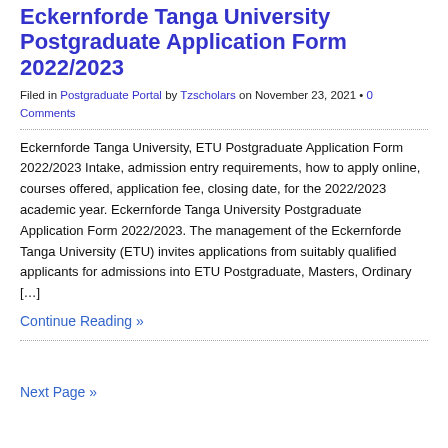Eckernforde Tanga University Postgraduate Application Form 2022/2023
Filed in Postgraduate Portal by Tzscholars on November 23, 2021 • 0 Comments
Eckernforde Tanga University, ETU Postgraduate Application Form 2022/2023 Intake, admission entry requirements, how to apply online, courses offered, application fee, closing date, for the 2022/2023 academic year. Eckernforde Tanga University Postgraduate Application Form 2022/2023. The management of the Eckernforde Tanga University (ETU) invites applications from suitably qualified applicants for admissions into ETU Postgraduate, Masters, Ordinary [...]
Continue Reading »
Next Page »